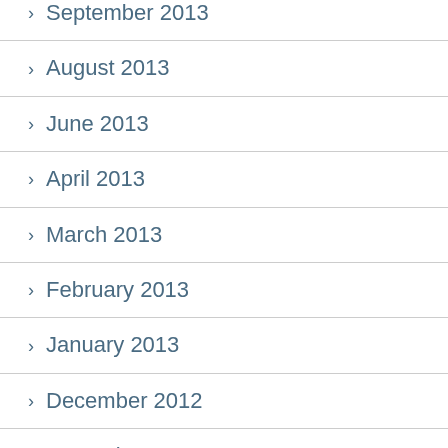> September 2013
> August 2013
> June 2013
> April 2013
> March 2013
> February 2013
> January 2013
> December 2012
> November 2012